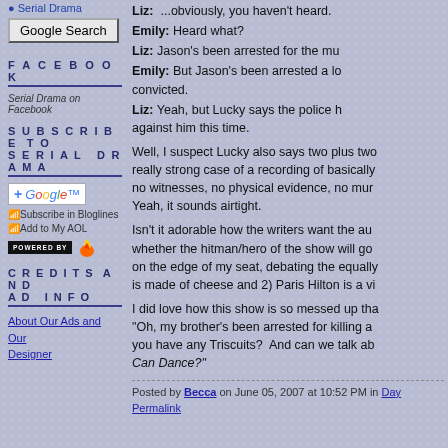Serial Drama
Google Search
FACEBOOK
Serial Drama on Facebook
SUBSCRIBE TO SERIAL DRAMA
+ Google
Subscribe in Bloglines
Add to My AOL
POWERED BY
CREDITS AND AD INFO
About Our Ads and Our Designer
Liz:  ...obviously, you haven't heard.
Emily: Heard what?
Liz: Jason's been arrested for the mu
Emily: But Jason's been arrested a lo convicted.
Liz: Yeah, but Lucky says the police h against him this time.
Well, I suspect Lucky also says two plus two really strong case of a recording of basically no witnesses, no physical evidence, no mur Yeah, it sounds airtight.
Isn't it adorable how the writers want the au whether the hitman/hero of the show will go on the edge of my seat, debating the equally is made of cheese and 2) Paris Hilton is a vi
I did love how this show is so messed up tha "Oh, my brother's been arrested for killing a you have any Triscuits?  And can we talk ab Can Dance?"
Posted by Becca on June 05, 2007 at 10:52 PM in Day Permalink